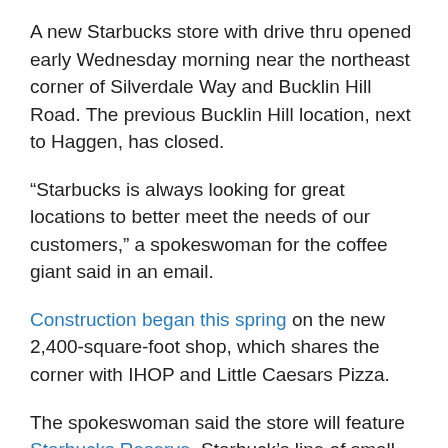A new Starbucks store with drive thru opened early Wednesday morning near the northeast corner of Silverdale Way and Bucklin Hill Road. The previous Bucklin Hill location, next to Haggen, has closed.
“Starbucks is always looking for great locations to better meet the needs of our customers,” a spokeswoman for the coffee giant said in an email.
Construction began this spring on the new 2,400-square-foot shop, which shares the corner with IHOP and Little Caesars Pizza.
The spokeswoman said the store will feature Starbucks Reserve, Starbuck’s line of small-batch roasted coffees. The location is also equipped with a Clover Brewing System. The store has a staff of 28.